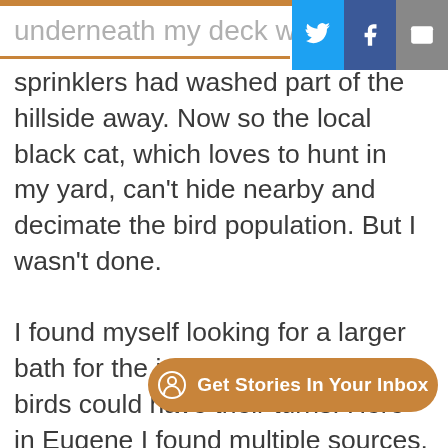underneath my deck wher
sprinklers had washed part of the hillside away. Now so the local black cat, which loves to hunt in my yard, can't hide nearby and decimate the bird population. But I wasn't done.

I found myself looking for a larger bath for the jays so that the smaller birds could have their turns. Here in Eugene I found multiple sources. My landscaper, Rising Sun, sent me over to Roge Springfield. T was full of lawn decorations and
Get Stories In Your Inbox